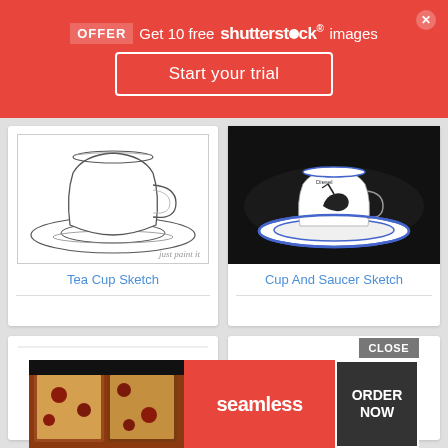OFFER Get 10 free shutterstock images
Start your trial
[Figure (illustration): Line drawing sketch of a tea cup on a saucer with watermark 'just paint it']
Tea Cup Sketch
[Figure (photo): Photo of a white espresso cup and saucer with blue rim and black graphic design against black background]
Cup And Saucer Sketch
[Figure (screenshot): Seamless food delivery advertisement with pizza image, seamless logo, and ORDER NOW button with CLOSE button]